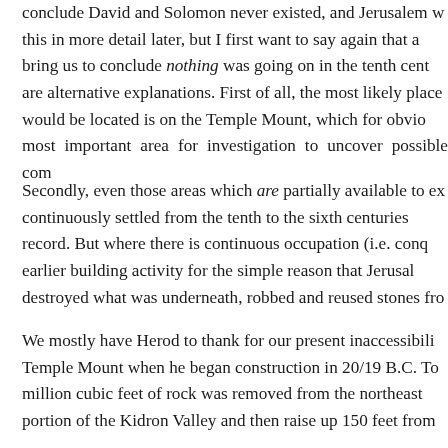conclude David and Solomon never existed, and Jerusalem w this in more detail later, but I first want to say again that a bring us to conclude nothing was going on in the tenth cent are alternative explanations. First of all, the most likely place would be located is on the Temple Mount, which for obvio most important area for investigation to uncover possible com
Secondly, even those areas which are partially available to ex continuously settled from the tenth to the sixth centuries record. But where there is continuous occupation (i.e. conq earlier building activity for the simple reason that Jerusal destroyed what was underneath, robbed and reused stones fro
We mostly have Herod to thank for our present inaccessibili Temple Mount when he began construction in 20/19 B.C. To million cubic feet of rock was removed from the northeast portion of the Kidron Valley and then raise up 150 feet from